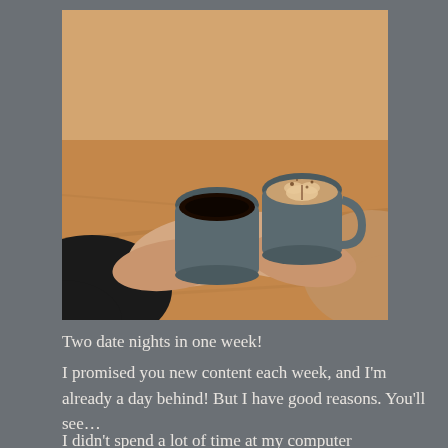[Figure (photo): Two pairs of hands holding coffee cups across a wooden table, one cup black coffee in a grey mug, the other a latte with leaf art in a grey mug. One person wearing a dark jacket sleeve, the other a camel/beige coat sleeve.]
Two date nights in one week!
I promised you new content each week, and I'm already a day behind! But I have good reasons. You'll see…
I didn't spend a lot of time at my computer